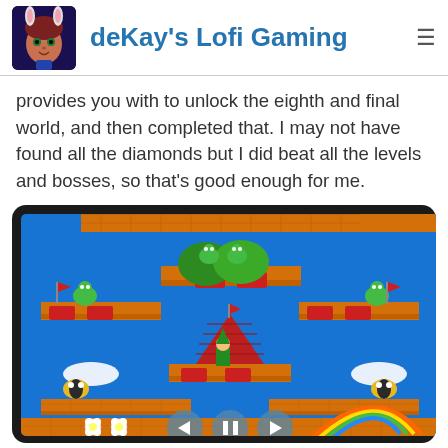deKay's Lofi Gaming
provides you with to unlock the eighth and final world, and then completed that. I may not have found all the diamonds but I did beat all the levels and bosses, so that's good enough for me.
[Figure (screenshot): Screenshot of a retro platform video game showing colorful characters and brick platforms on a blue background, displayed inside a tablet/device frame with playback controls at the bottom.]